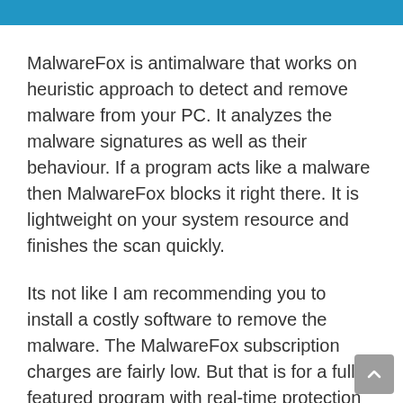MalwareFox is antimalware that works on heuristic approach to detect and remove malware from your PC. It analyzes the malware signatures as well as their behaviour. If a program acts like a malware then MalwareFox blocks it right there. It is lightweight on your system resource and finishes the scan quickly.
Its not like I am recommending you to install a costly software to remove the malware. The MalwareFox subscription charges are fairly low. But that is for a fully featured program with real-time protection capabilities. The scanning works even with the free version, though you can try the MalwareFox Premium for 14 days. Also, you don't need to remove your current antivirus, MalwareFox